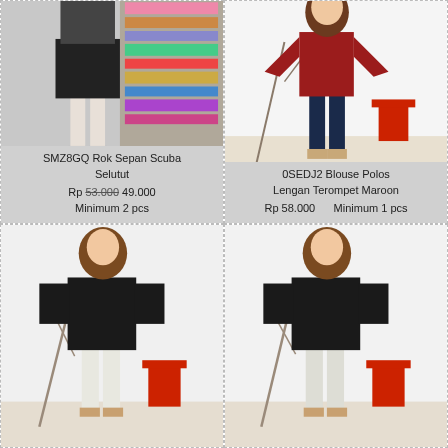[Figure (photo): Model wearing black pencil skirt (Rok Sepan Scuba Selutut), standing in front of shelving with fabrics]
SMZ8GQ Rok Sepan Scuba Selutut
Rp 53.000 49.000
Minimum 2 pcs
[Figure (photo): Model wearing maroon blouse with trumpet sleeves and dark jeans (Blouse Polos Lengan Terompet Maroon), standing in a white studio with red stool]
0SEDJ2 Blouse Polos Lengan Terompet Maroon
Rp 58.000    Minimum 1 pcs
[Figure (photo): Model wearing black loose long-sleeve shirt and white pants, standing in studio with red stool and branch decoration]
[Figure (photo): Model wearing black loose long-sleeve shirt and white pants, standing in studio with red stool and branch decoration (same outfit, different crop)]